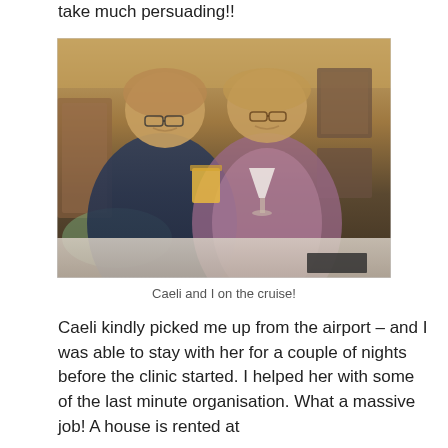take much persuading!!
[Figure (photo): Two women smiling and holding cocktail drinks, seated at a table in a bar or lounge area, likely on a cruise ship.]
Caeli and I on the cruise!
Caeli kindly picked me up from the airport – and I was able to stay with her for a couple of nights before the clinic started.  I helped her with some of the last minute organisation.  What a massive job!  A house is rented at